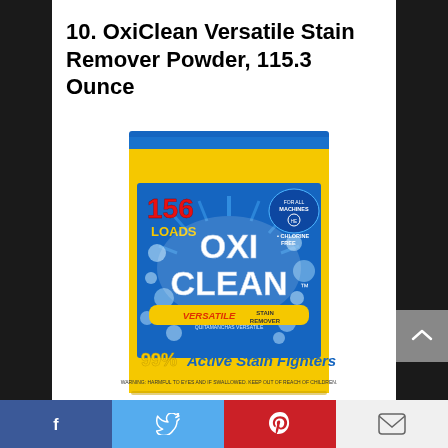10. OxiClean Versatile Stain Remover Powder, 115.3 Ounce
[Figure (photo): OxiClean Versatile Stain Remover Powder box, yellow packaging with blue label, showing 156 Loads, OxiClean logo, Versatile Stain Remover, 99% Active Stain Fighters, Chlorine Free, For All Machines]
Facebook | Twitter | Pinterest | Email